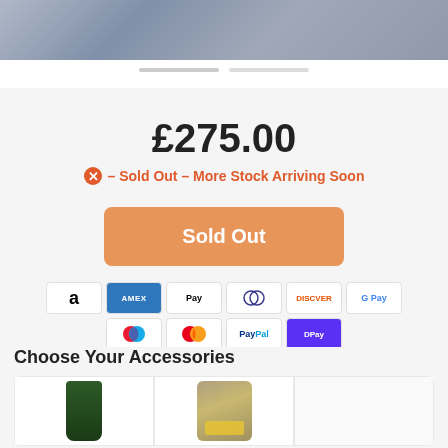[Figure (photo): Product image showing a stone or paving material texture, grey/blue tones]
£275.00
✖ – Sold Out – More Stock Arriving Soon
Sold Out
[Figure (other): Payment method icons: Amazon, AMEX, Apple Pay, Diners Club, Discover, Google Pay, Maestro, Mastercard, PayPal, Shopify Pay, VISA]
Choose Your Accessories
[Figure (photo): Two accessory product thumbnails: a green roll/post and a bag of material]